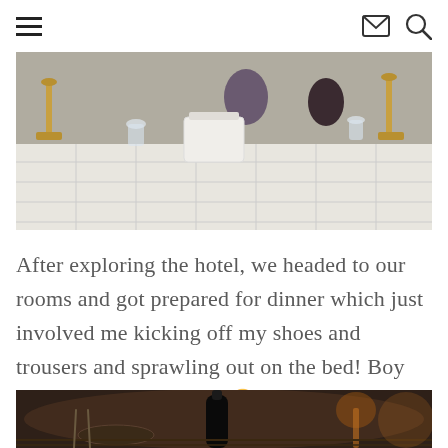☰  ✉ 🔍
[Figure (photo): Photo of a hotel bar or dining counter with white tile, glassware, candles, and people reflected in a mirror.]
After exploring the hotel, we headed to our rooms and got prepared for dinner which just involved me kicking off my shoes and trousers and sprawling out on the bed! Boy did that feel so good!!! 🙂
[Figure (photo): Dark, warm-toned photo of a dinner table setting with a bottle, plate, and candles.]